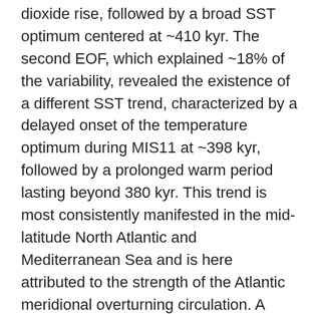dioxide rise, followed by a broad SST optimum centered at ~410 kyr. The second EOF, which explained ~18% of the variability, revealed the existence of a different SST trend, characterized by a delayed onset of the temperature optimum during MIS11 at ~398 kyr, followed by a prolonged warm period lasting beyond 380 kyr. This trend is most consistently manifested in the mid-latitude North Atlantic and Mediterranean Sea and is here attributed to the strength of the Atlantic meridional overturning circulation. A sensitivity analysis indicates that these results are robust to record selection and to age-model uncertainties of up to 3–6 kyr, but more sensitive to SST seasonal attribution and SST uncertainties >1 °C. In order to validate the CCSM3 (Community Climate System Model, version 3) predictive potential, the annual and seasonal SST anomalies recorded in a total of 74 proxy records were compared with runs for three time slices representing orbital configuration extremes during the peak interglacial of MIS11. The modeled SST